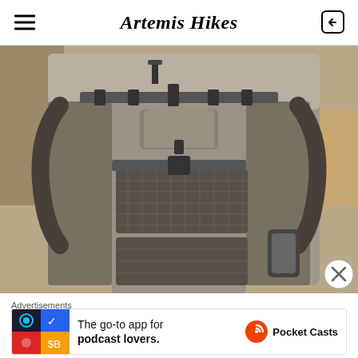Artemis Hikes
[Figure (photo): Rear view of a large hiking/trekking backpack with external frame, mesh pockets, multiple straps and buckles, resting on a surface outdoors]
Advertisements
[Figure (infographic): Pocket Casts advertisement: 'The go-to app for podcast lovers.' with Pocket Casts logo and colorful app icon]